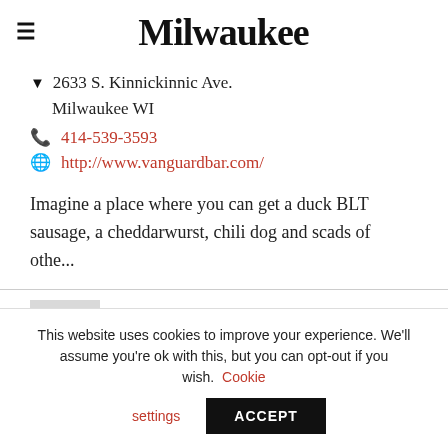Milwaukee
2633 S. Kinnickinnic Ave. Milwaukee WI
414-539-3593
http://www.vanguardbar.com/
Imagine a place where you can get a duck BLT sausage, a cheddarwurst, chili dog and scads of othe...
Wisconsin Room, The American
This website uses cookies to improve your experience. We'll assume you're ok with this, but you can opt-out if you wish. Cookie settings ACCEPT